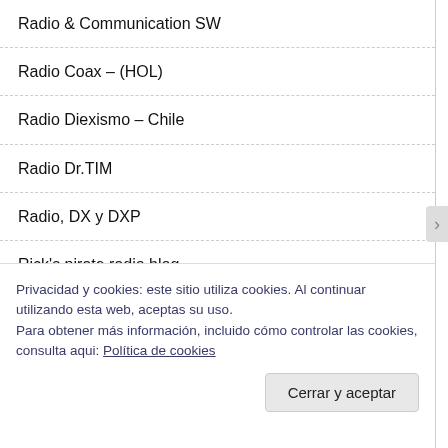Radio & Communication SW
Radio Coax – (HOL)
Radio Diexismo – Chile
Radio Dr.TIM
Radio, DX y DXP
Rick's pirate radio blog
SHORTWAVE BLOG FROM BELARUS
Shortwave DX-ing from Bulgaria
Sintonía DX
Privacidad y cookies: este sitio utiliza cookies. Al continuar utilizando esta web, aceptas su uso.
Para obtener más información, incluido cómo controlar las cookies, consulta aqui: Política de cookies
Cerrar y aceptar